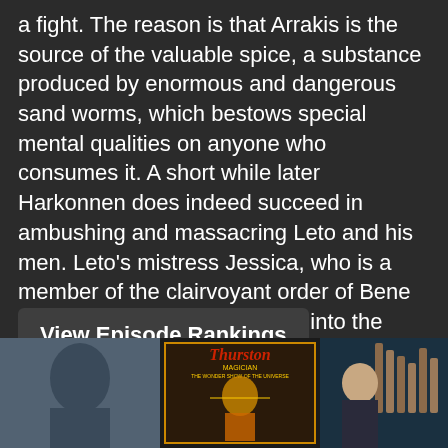a fight. The reason is that Arrakis is the source of the valuable spice, a substance produced by enormous and dangerous sand worms, which bestows special mental qualities on anyone who consumes it. A short while later Harkonnen does indeed succeed in ambushing and massacring Leto and his men. Leto's mistress Jessica, who is a member of the clairvoyant order of Bene Gesserit, manages to escape into the desert with her son Paul, and after a long and dangerous march they finally encounter the Fremen, the long suppressed desert tribe of Arrakis.
View Episode Rankings
[Figure (photo): Three images at the bottom: a blue-toned photo on the left, a Thurston Magician poster in the middle, and a photo of a person with organ pipes on the right]